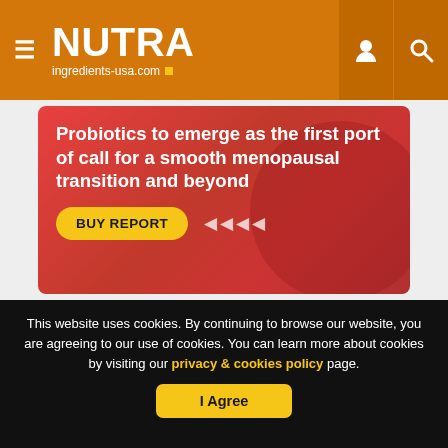NUTRA ingredients-usa.com
[Figure (screenshot): Advertisement banner with red gradient background showing text: 'Probiotics to emerge as the first port of call for a smooth menopausal transition and beyond' with a yellow 'BUY REPORT' button and navigation arrows]
This website uses cookies. By continuing to browse our website, you are agreeing to our use of cookies. You can learn more about cookies by visiting our privacy & cookies policy page.
I Agree